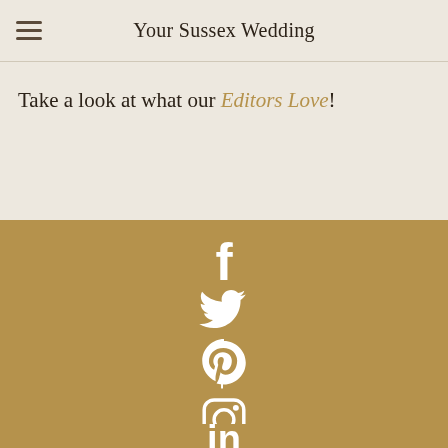Your Sussex Wedding
Take a look at what our Editors Love!
[Figure (infographic): Social media icons (Facebook, Twitter, Pinterest, Instagram, LinkedIn) displayed vertically in white on a gold/tan background]